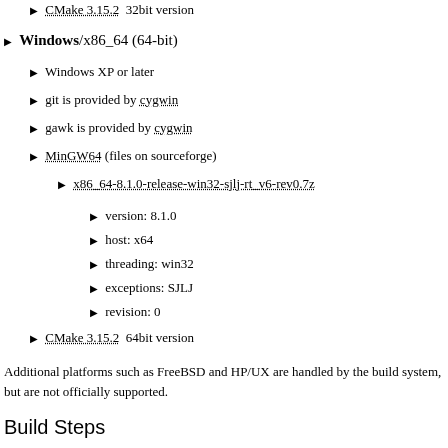CMake 3.15.2  32bit version
Windows/x86_64 (64-bit)
Windows XP or later
git is provided by cygwin
gawk is provided by cygwin
MinGW64 (files on sourceforge)
x86_64-8.1.0-release-win32-sjlj-rt_v6-rev0.7z
version: 8.1.0
host: x64
threading: win32
exceptions: SJLJ
revision: 0
CMake 3.15.2  64bit version
Additional platforms such as FreeBSD and HP/UX are handled by the build system, but are not officially supported.
Build Steps